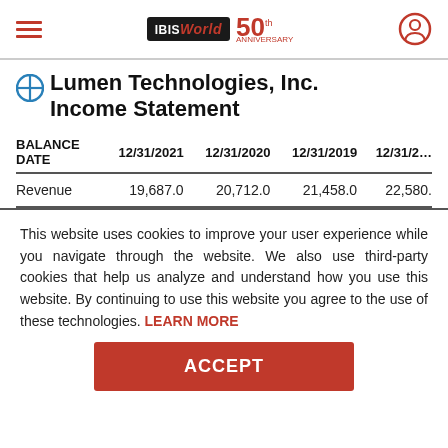IBISWorld 50th Anniversary
Lumen Technologies, Inc. Income Statement
| BALANCE DATE | 12/31/2021 | 12/31/2020 | 12/31/2019 | 12/31/2… |
| --- | --- | --- | --- | --- |
| Revenue | 19,687.0 | 20,712.0 | 21,458.0 | 22,580. |
This website uses cookies to improve your user experience while you navigate through the website. We also use third-party cookies that help us analyze and understand how you use this website. By continuing to use this website you agree to the use of these technologies. LEARN MORE
ACCEPT